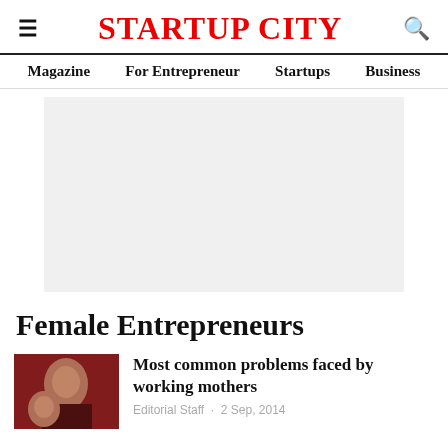STARTUP CITY
Magazine   For Entrepreneur   Startups   Business
[Figure (other): Advertisement placeholder — light grey rectangle]
Female Entrepreneurs
[Figure (photo): Photo of a woman with a child, dark reddish tones]
Most common problems faced by working mothers
Editorial Staff · 2 Sep, 2014